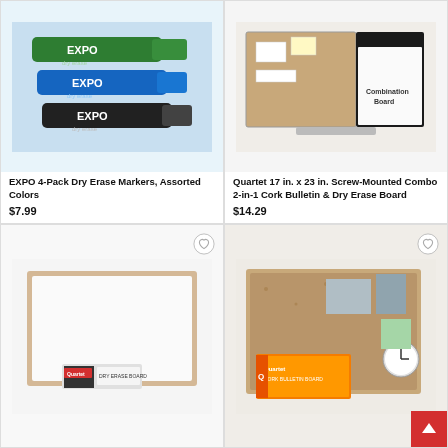[Figure (photo): EXPO 4-Pack Dry Erase Markers in green, blue, and black on blue background]
EXPO 4-Pack Dry Erase Markers, Assorted Colors
$7.99
[Figure (photo): Quartet 17 in. x 23 in. Screw-Mounted Combo 2-in-1 Cork Bulletin & Dry Erase Board product photo]
Quartet 17 in. x 23 in. Screw-Mounted Combo 2-in-1 Cork Bulletin & Dry Erase Board
$14.29
[Figure (photo): Quartet dry erase board with wood frame, white surface, shown with product packaging]
[Figure (photo): Quartet cork bulletin board with wood frame shown with orange product packaging box]